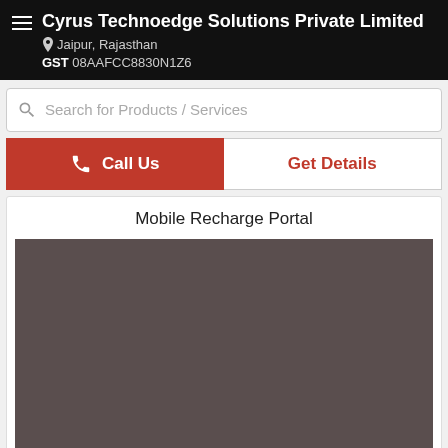Cyrus Technoedge Solutions Private Limited
Jaipur, Rajasthan
GST 08AAFCC8830N1Z6
Search for Products / Services
Call Us
Get Details
Mobile Recharge Portal
[Figure (photo): Dark brownish-grey product image placeholder for Mobile Recharge Portal]